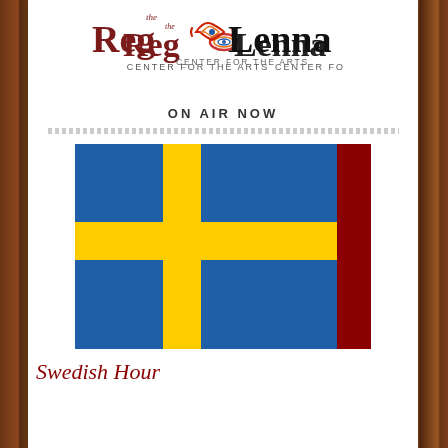[Figure (logo): Reg Lenna Center for the Arts logo with decorative swirl and 'the' above Reg]
ON AIR NOW
[Figure (illustration): Swedish flag image with a red vertical stripe on the right edge, shown on a white background]
Swedish Hour